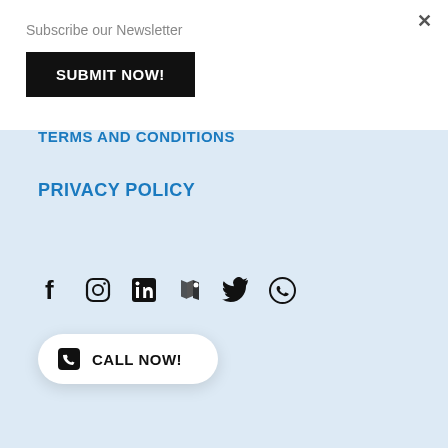×
Subscribe our Newsletter
SUBMIT NOW!
TERMS AND CONDITIONS
PRIVACY POLICY
[Figure (infographic): Social media icons: Facebook, Instagram, LinkedIn, Maps/Location, Twitter, WhatsApp]
CALL NOW!